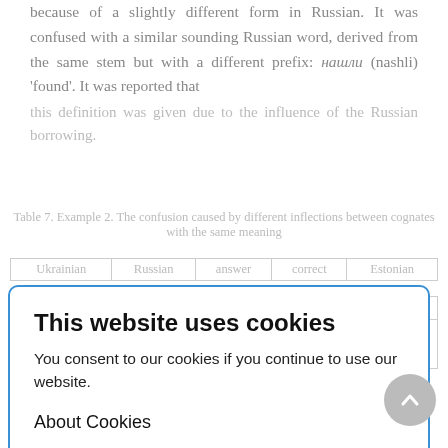because of a slightly different form in Russian. It was confused with a similar sounding Russian word, derived from the same stem but with a different prefix: нашли (nashli) 'found'. It was reported that this definition was given due to the influence of the Russian borrowing.
Table 7. Example 2. The confusion caused by different inflections between cognates with the same meaning
| Ukrainian | Russian | answer | correct | Estonian |
| --- | --- | --- | --- | --- |
| шишли ishly | шли shli | otsisid | loksid |  |
| 'went' | 'went' | 'looked for' | 'went' |  |
The Ukrainian word сторінка (storinka) 'page' appeared to be challenging for
This website uses cookies
You consent to our cookies if you continue to use our website.
About Cookies
OK